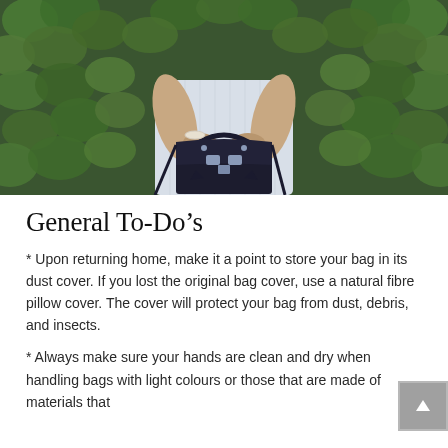[Figure (photo): A person in a light grey dress holding a small black leather satchel bag with buckle clasps, standing in front of a wall covered in green ivy leaves. The person's hands are visible holding the bag's handle, and they are wearing a bracelet.]
General To-Do's
* Upon returning home, make it a point to store your bag in its dust cover. If you lost the original bag cover, use a natural fibre pillow cover. The cover will protect your bag from dust, debris, and insects.
* Always make sure your hands are clean and dry when handling bags with light colours or those that are made of materials that